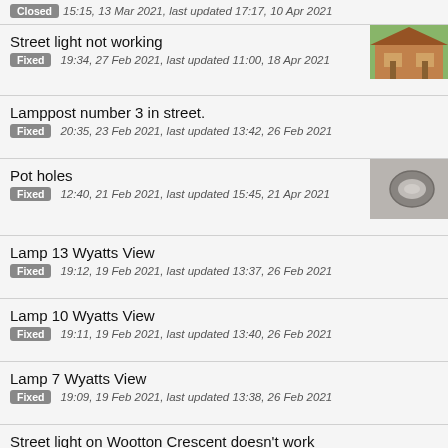Closed 15:15, 13 Mar 2021, last updated 17:17, 10 Apr 2021
Street light not working
Fixed 19:34, 27 Feb 2021, last updated 11:00, 18 Apr 2021
Lamppost number 3 in street.
Fixed 20:35, 23 Feb 2021, last updated 13:42, 26 Feb 2021
Pot holes
Fixed 12:40, 21 Feb 2021, last updated 15:45, 21 Apr 2021
Lamp 13 Wyatts View
Fixed 19:12, 19 Feb 2021, last updated 13:37, 26 Feb 2021
Lamp 10 Wyatts View
Fixed 19:11, 19 Feb 2021, last updated 13:40, 26 Feb 2021
Lamp 7 Wyatts View
Fixed 19:09, 19 Feb 2021, last updated 13:38, 26 Feb 2021
Street light on Wootton Crescent doesn’t work
Fixed 13:56, 19 Feb 2021, last updated 13:35, 26 Feb 2021